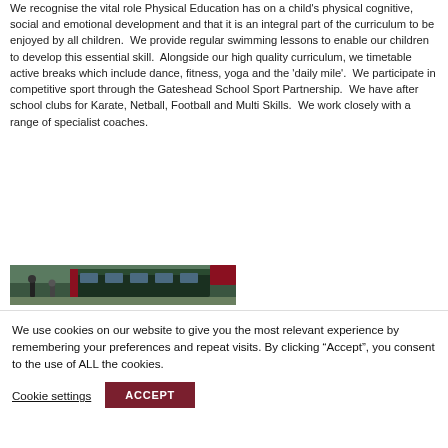We recognise the vital role Physical Education has on a child's physical cognitive, social and emotional development and that it is an integral part of the curriculum to be enjoyed by all children. We provide regular swimming lessons to enable our children to develop this essential skill. Alongside our high quality curriculum, we timetable active breaks which include dance, fitness, yoga and the 'daily mile'. We participate in competitive sport through the Gateshead School Sport Partnership. We have after school clubs for Karate, Netball, Football and Multi Skills. We work closely with a range of specialist coaches.
[Figure (photo): Outdoor photo showing children or people near a bus/vehicle]
We use cookies on our website to give you the most relevant experience by remembering your preferences and repeat visits. By clicking "Accept", you consent to the use of ALL the cookies.
Cookie settings   ACCEPT